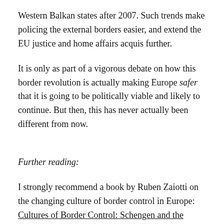Western Balkan states after 2007. Such trends make policing the external borders easier, and extend the EU justice and home affairs acquis further.
It is only as part of a vigorous debate on how this border revolution is actually making Europe safer that it is going to be politically viable and likely to continue. But then, this has never actually been different from now.
Further reading:
I strongly recommend a book by Ruben Zaiotti on the changing culture of border control in Europe: Cultures of Border Control: Schengen and the Evolution of European Frontiers.
A few weeks ago ESI and Erste Stiftung also recently